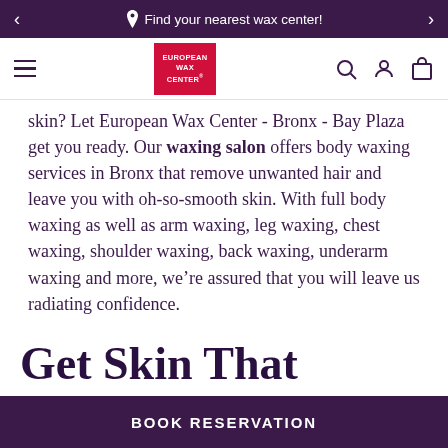Find your nearest wax center!
[Figure (logo): European Wax Center logo - red rectangle with white text]
skin? Let European Wax Center - Bronx - Bay Plaza get you ready. Our waxing salon offers body waxing services in Bronx that remove unwanted hair and leave you with oh-so-smooth skin. With full body waxing as well as arm waxing, leg waxing, chest waxing, shoulder waxing, back waxing, underarm waxing and more, we’re assured that you will leave us radiating confidence.
Get Skin That Always
BOOK RESERVATION